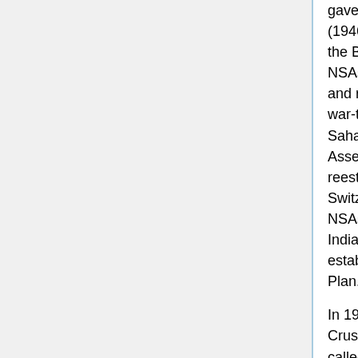gave North Americans a second Seven Year Plan (1946-53). It called for completion of the interior of the Bahá'í House of Worship, election of three new NSAs (Canada, Central America, South America), and reestablishment of Bahá'í communities in ten war-torn European countries. In 1950, goals in sub-Saharan Africa were added. The National Spiritual Assembly of Germany and Austria was reestablished and a new NSA, for Italy and Switzerland, was formed. In 1953 the number of NSAs had grown to twelve. The British, Australian, Indian, and Persian communities were inspired to establish their plans patterned after the Seven Year Plan.
In 1953 Shoghi Effendi announced a Ten Year Crusade, giving goals to all twelve NSAs. The plan called for raising the